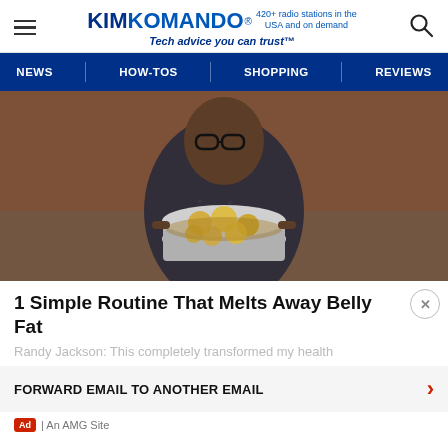KIMKOMANDO® 420+ radio stations in the USA and on demand — Tech advice you can trust™
NEWS | HOW-TOS | SHOPPING | REVIEWS
[Figure (photo): A man wearing glasses and a dark patterned shirt holding a large pot filled with lemon slices in liquid, in a kitchen setting.]
1 Simple Routine That Melts Away Belly Fat
Randy Jackson: This completely transformed my health
FORWARD EMAIL TO ANOTHER EMAIL
Ad | An AMG Site